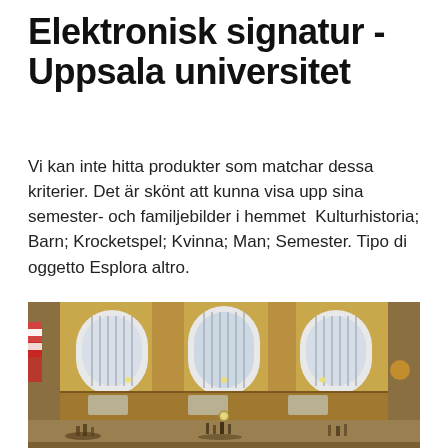Elektronisk signatur - Uppsala universitet
Vi kan inte hitta produkter som matchar dessa kriterier. Det är skönt att kunna visa upp sina semester- och familjebilder i hemmet  Kulturhistoria; Barn; Krocketspel; Kvinna; Man; Semester. Tipo di oggetto Esplora altro.
[Figure (photo): Interior of a grand train station hall (resembling Grand Central Terminal) with arched windows, ornate architecture, and crowds of people on the main concourse floor, warm golden lighting.]